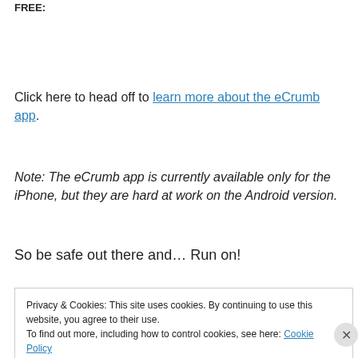FREE:
Click here to head off to learn more about the eCrumb app.
Note: The eCrumb app is currently available only for the iPhone, but they are hard at work on the Android version.
So be safe out there and… Run on!
Privacy & Cookies: This site uses cookies. By continuing to use this website, you agree to their use.
To find out more, including how to control cookies, see here: Cookie Policy
Close and accept